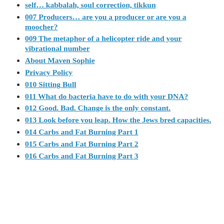self… kabbalah, soul correction, tikkun
007 Producers… are you a producer or are you a moocher?
009 The metaphor of a helicopter ride and your vibrational number
About Maven Sophie
Privacy Policy
010 Sitting Bull
011 What do bacteria have to do with your DNA?
012 Good. Bad. Change is the only constant.
013 Look before you leap. How the Jews bred capacities.
014 Carbs and Fat Burning Part 1
015 Carbs and Fat Burning Part 2
016 Carbs and Fat Burning Part 3